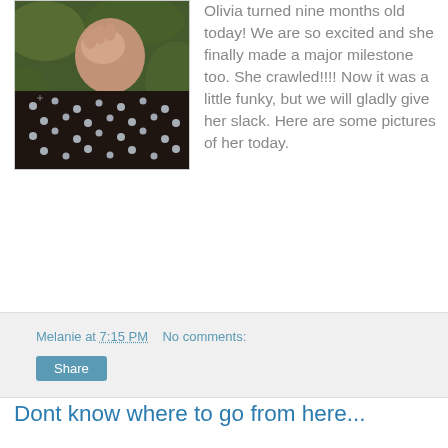[Figure (photo): Close-up photo of a baby in a dark polka-dot outfit against green foliage background]
Olivia turned nine months old today! We are so excited and she finally made a major milestone too. She crawled!!!! Now it was a little funky, but we will gladly give her slack. Here are some pictures of her today.
Melanie at 7:15 PM   No comments:
Share
Dont know where to go from here...